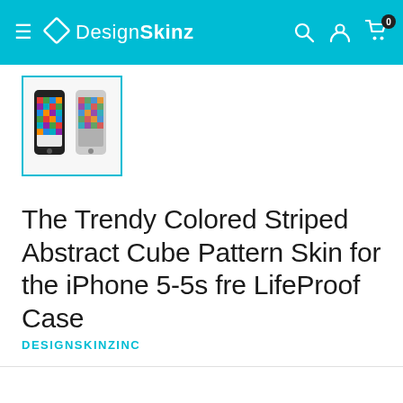DesignSkinz
[Figure (photo): Thumbnail image of iPhone 5-5s fre LifeProof Case with Trendy Colored Striped Abstract Cube Pattern Skin, shown from front and back views]
The Trendy Colored Striped Abstract Cube Pattern Skin for the iPhone 5-5s fre LifeProof Case
DESIGNSKINZINC